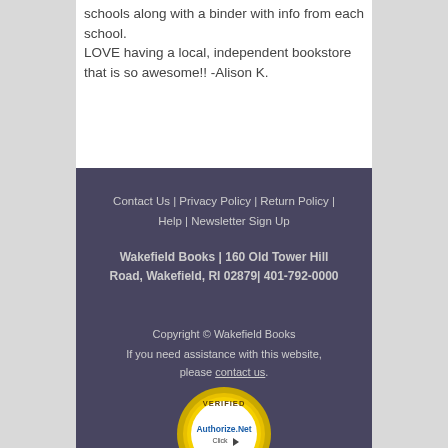schools along with a binder with info from each school.
LOVE having a local, independent bookstore that is so awesome!! -Alison K.
Contact Us | Privacy Policy | Return Policy | Help | Newsletter Sign Up
Wakefield Books | 160 Old Tower Hill Road, Wakefield, RI 02879| 401-792-0000
Copyright © Wakefield Books
If you need assistance with this website, please contact us.
[Figure (logo): Authorize.Net Verified Merchant badge - circular gold seal with 'VERIFIED' text at top, 'Authorize.Net' in center, 'Click' with arrow icon, and 'MERCHANT' at bottom]